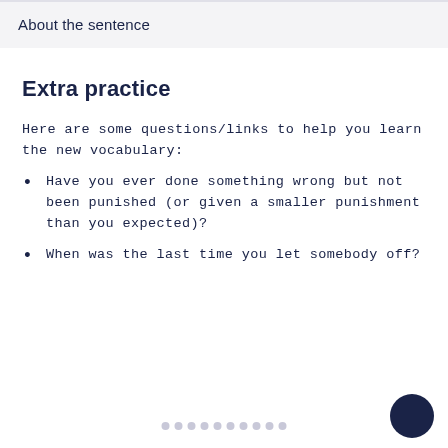About the sentence
Extra practice
Here are some questions/links to help you learn the new vocabulary:
Have you ever done something wrong but not been punished (or given a smaller punishment than you expected)?
When was the last time you let somebody off?